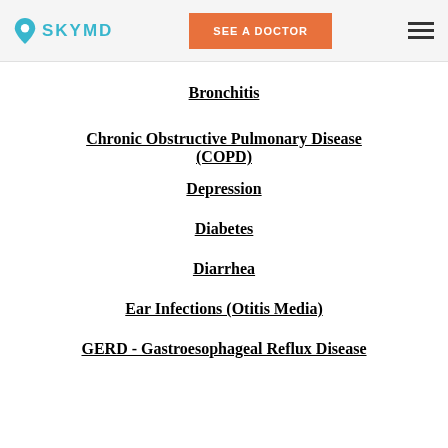SKYMD | SEE A DOCTOR
Bronchitis
Chronic Obstructive Pulmonary Disease (COPD)
Depression
Diabetes
Diarrhea
Ear Infections (Otitis Media)
GERD - Gastroesophageal Reflux Disease